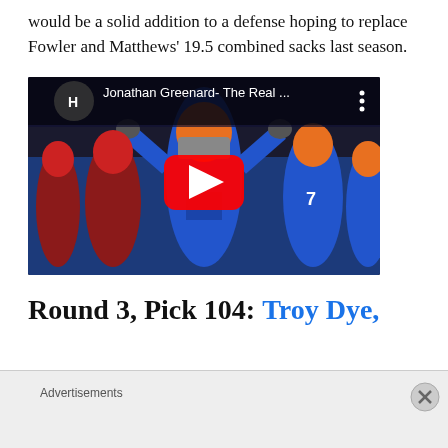would be a solid addition to a defense hoping to replace Fowler and Matthews' 19.5 combined sacks last season.
[Figure (screenshot): YouTube video thumbnail showing Jonathan Greenard in a Florida Gators uniform celebrating on a football field, with the title 'Jonathan Greenard- The Real ...' and a YouTube play button overlay.]
Round 3, Pick 104: Troy Dye,
Advertisements